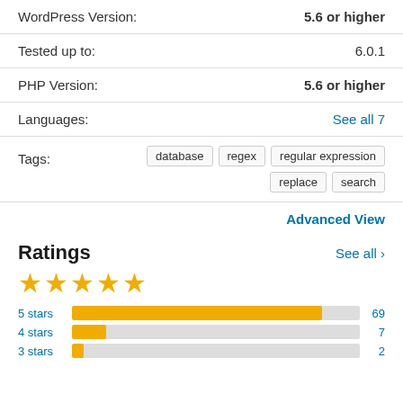| WordPress Version: | 5.6 or higher |
| Tested up to: | 6.0.1 |
| PHP Version: | 5.6 or higher |
| Languages: | See all 7 |
| Tags: | database  regex  regular expression  replace  search |
Advanced View
Ratings
[Figure (bar-chart): Ratings breakdown]